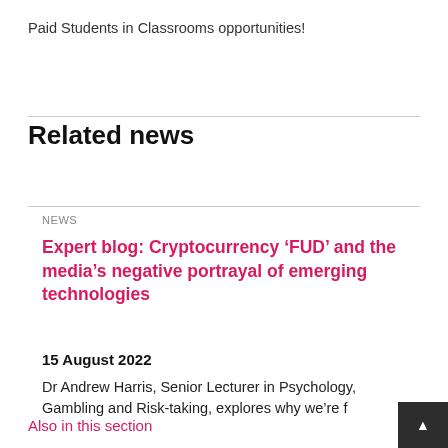Paid Students in Classrooms opportunities!
Related news
NEWS
Expert blog: Cryptocurrency ‘FUD’ and the media’s negative portrayal of emerging technologies
15 August 2022
Dr Andrew Harris, Senior Lecturer in Psychology, Gambling and Risk-taking, explores why we’re fearful of emerging technologies
Also in this section